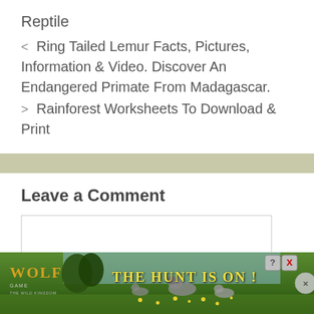Reptile
< Ring Tailed Lemur Facts, Pictures, Information & Video. Discover An Endangered Primate From Madagascar.
> Rainforest Worksheets To Download & Print
Leave a Comment
[Figure (screenshot): Advertisement banner for Wolf Game: The Wild Kingdom showing wolves in a meadow with text 'THE HUNT IS ON!']